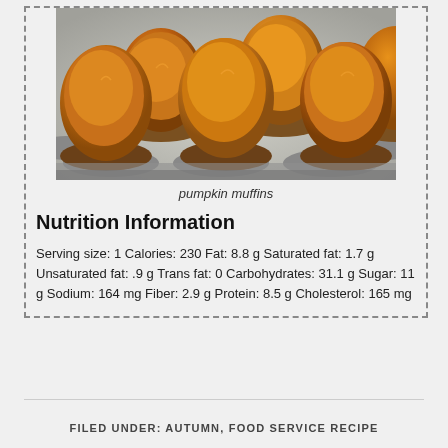[Figure (photo): Pumpkin muffins in a metal muffin tin, golden-brown tops, overhead angled view]
pumpkin muffins
Nutrition Information
Serving size: 1 Calories: 230 Fat: 8.8 g Saturated fat: 1.7 g Unsaturated fat: .9 g Trans fat: 0 Carbohydrates: 31.1 g Sugar: 11 g Sodium: 164 mg Fiber: 2.9 g Protein: 8.5 g Cholesterol: 165 mg
FILED UNDER: AUTUMN, FOOD SERVICE RECIPE